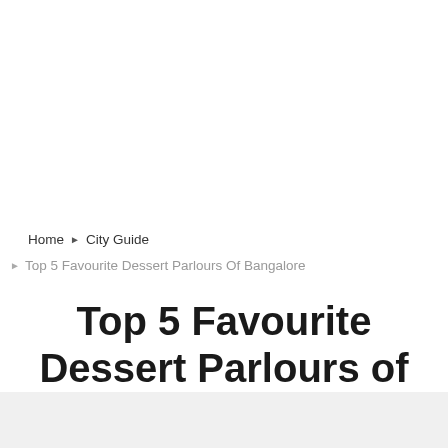Home ▶ City Guide
▶ Top 5 Favourite Dessert Parlours Of Bangalore
Top 5 Favourite Dessert Parlours of Bangalore